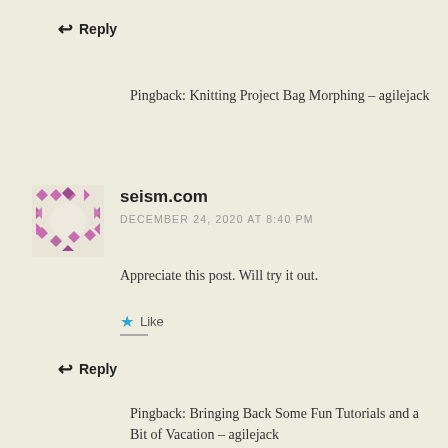↩ Reply
Pingback: Knitting Project Bag Morphing – agilejack
[Figure (illustration): Geometric avatar icon with pink/purple diamond and triangle pattern on light background]
seism.com
DECEMBER 24, 2020 AT 8:40 PM
Appreciate this post. Will try it out.
★ Like
↩ Reply
Pingback: Bringing Back Some Fun Tutorials and a Bit of Vacation – agilejack